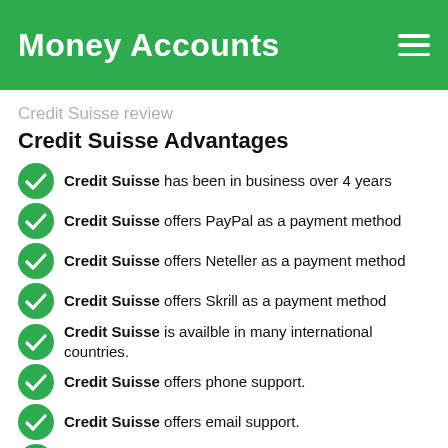Money Accounts
Credit Suisse review
Credit Suisse Advantages
Credit Suisse has been in business over 4 years
Credit Suisse offers PayPal as a payment method
Credit Suisse offers Neteller as a payment method
Credit Suisse offers Skrill as a payment method
Credit Suisse is availble in many international countries.
Credit Suisse offers phone support.
Credit Suisse offers email support.
Credit Suisse offers an Apple iOS mobile application.
Credit Suisse offers an Android Google Play Store mobile app.
Credit Suisse review